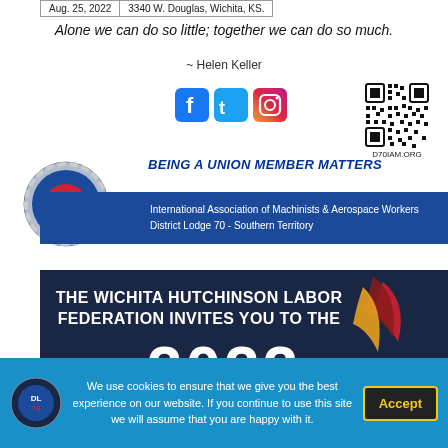| Aug. 25, 2022 | 3340 W. Douglas, Wichita, KS. |
| --- | --- |
Alone we can do so little; together we can do so much.
~ Helen Keller
[Figure (logo): Facebook, Twitter, Instagram social media icons]
[Figure (other): QR code with label D70IAM.ORG]
BEING A UNION MEMBER MATTERS
[Figure (logo): International Association of Machinists and Aerospace Workers circular logo]
International Association of Machinists & Aerospace Workers
District Lodge 70 - Southern Territory
THE WICHITA HUTCHINSON LABOR FEDERATION INVITES YOU TO THE
2022
[Figure (illustration): Decorative feather/flame design in red, yellow, and dark red]
We use cookies to ensure that we give you the best experience on our website. If you continue to use this site we will assume that you are happy with it.